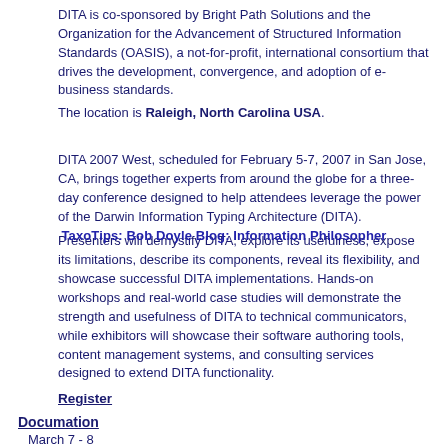DITA is co-sponsored by Bright Path Solutions and the Organization for the Advancement of Structured Information Standards (OASIS), a not-for-profit, international consortium that drives the development, convergence, and adoption of e-business standards.
The location is Raleigh, North Carolina USA.
DITA 2007 West, scheduled for February 5-7, 2007 in San Jose, CA, brings together experts from around the globe for a three-day conference designed to help attendees leverage the power of the Darwin Information Typing Architecture (DITA).
Presenters will demystify DITA, explore its usefulness, expose its limitations, describe its components, reveal its flexibility, and showcase successful DITA implementations. Hands-on workshops and real-world case studies will demonstrate the strength and usefulness of DITA to technical communicators, while exhibitors will showcase their software authoring tools, content management systems, and consulting services designed to extend DITA functionality.
TaxoTips: Bob Doyle Blog: Information Philosopher
Register
Documation
March 7 - 8
Reed Expositions France - Documation
ORGANISER, GERER ET PUBLIER VOTRE INFORMATION : LES ENJEUX DE DOCUMATION
La maîtrise de le gestion de documents et de leur contenu est